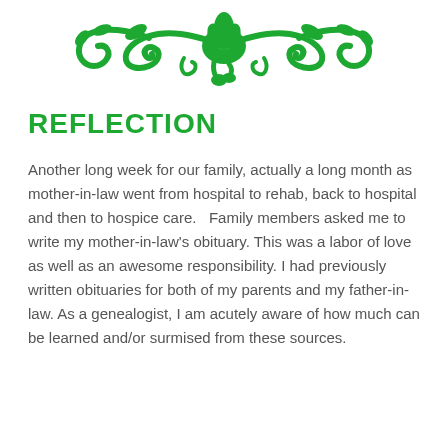[Figure (illustration): Green decorative floral/scroll ornament divider at top of page]
REFLECTION
Another long week for our family, actually a long month as mother-in-law went from hospital to rehab, back to hospital and then to hospice care.   Family members asked me to write my mother-in-law's obituary. This was a labor of love as well as an awesome responsibility. I had previously written obituaries for both of my parents and my father-in-law. As a genealogist, I am acutely aware of how much can be learned and/or surmised from these sources.